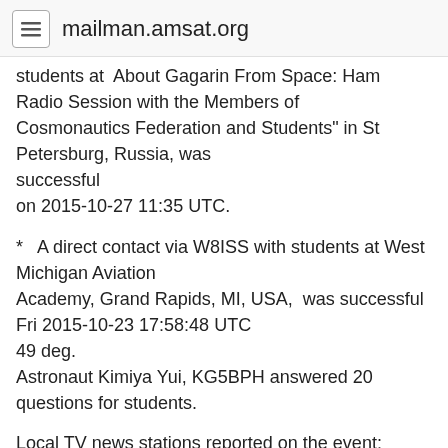mailman.amsat.org
students at  About Gagarin From Space: Ham Radio Session with the Members of Cosmonautics Federation and Students" in St Petersburg, Russia, was successful on 2015-10-27 11:35 UTC.
*   A direct contact via W8ISS with students at West Michigan Aviation Academy, Grand Rapids, MI, USA,  was successful Fri 2015-10-23 17:58:48 UTC 49 deg. Astronaut Kimiya Yui, KG5BPH answered 20 questions for students.
Local TV news stations reported on the event:
http://www.wzzm13.com/videos/news/local/2015/10/23/students-talk-to-astronau...
aboard-space-station/74486064/
http://woodtv.com/2015/10/23/w-mi-students-chat-with-